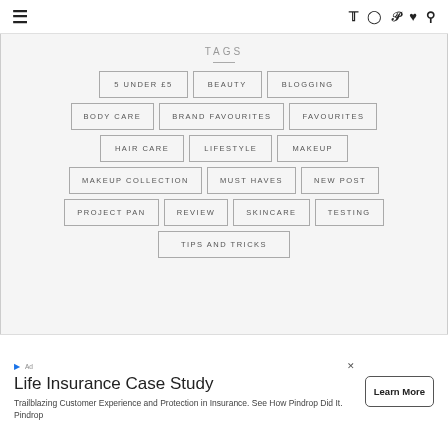≡  Twitter  Instagram  Pinterest  Heart  Search
TAGS
5 UNDER £5
BEAUTY
BLOGGING
BODY CARE
BRAND FAVOURITES
FAVOURITES
HAIR CARE
LIFESTYLE
MAKEUP
MAKEUP COLLECTION
MUST HAVES
NEW POST
PROJECT PAN
REVIEW
SKINCARE
TESTING
TIPS AND TRICKS
Life Insurance Case Study
Trailblazing Customer Experience and Protection in Insurance. See How Pindrop Did It. Pindrop
Learn More